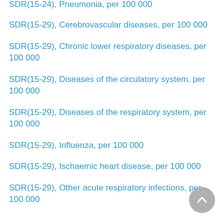SDR(15-24), Pneumonia, per 100 000
SDR(15-29), Cerebrovascular diseases, per 100 000
SDR(15-29), Chronic lower respiratory diseases, per 100 000
SDR(15-29), Diseases of the circulatory system, per 100 000
SDR(15-29), Diseases of the respiratory system, per 100 000
SDR(15-29), Influenza, per 100 000
SDR(15-29), Ischaemic heart disease, per 100 000
SDR(15-29), Other acute respiratory infections, per 100 000